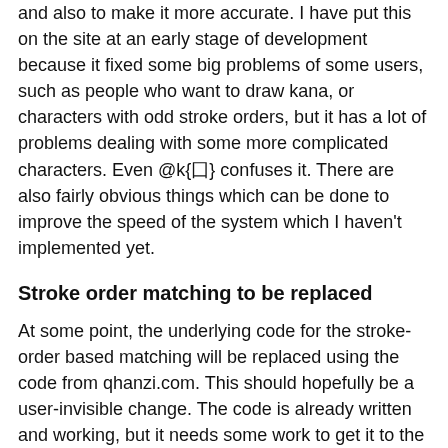and also to make it more accurate. I have put this on the site at an early stage of development because it fixed some big problems of some users, such as people who want to draw kana, or characters with odd stroke orders, but it has a lot of problems dealing with some more complicated characters. Even @k{囗} confuses it. There are also fairly obvious things which can be done to improve the speed of the system which I haven't implemented yet.
Stroke order matching to be replaced
At some point, the underlying code for the stroke-order based matching will be replaced using the code from qhanzi.com. This should hopefully be a user-invisible change. The code is already written and working, but it needs some work to get it to the same level as the existing code, which is currently more fast and more accurate than the qhanzi code, and also uses a completely different underlying structure for storing its data.